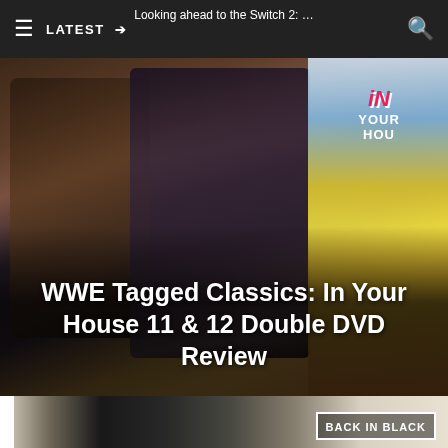Looking ahead to the Switch 2:
LATEST →
[Figure (photo): WWE Tagged Classics DVD covers showing wrestlers including The Undertaker and Shawn Michaels, with 'In Your House' branding visible on the right side, blurry/low resolution image]
WWE Tagged Classics: In Your House 11 & 12 Double DVD Review
[Figure (photo): Second image strip showing dark figures and 'BACK IN BLACK' text on a light background]
READ MORE
on Newz Online